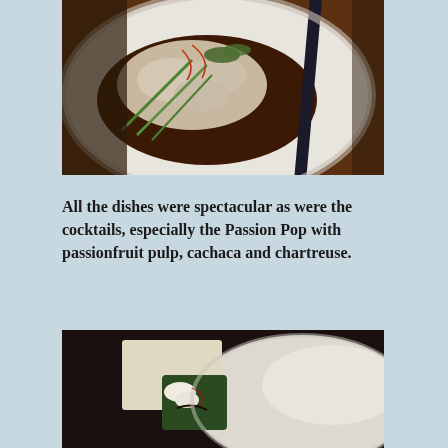[Figure (photo): Close-up photo of a food dish in a white bowl — dumplings or seafood in dark brown sauce with green onions, garnished with herbs and chili threads, with dark chopsticks resting on the side of the bowl.]
All the dishes were spectacular as were the cocktails, especially the Passion Pop with passionfruit pulp, cachaca and chartreuse.
[Figure (photo): Photo of a food dish on a white ceramic plate — a square piece of dark green seaweed or leaf wrapping with white garnish (possibly cream or cheese) and a dark sauce drizzle, on a light-colored plate over a dark background.]